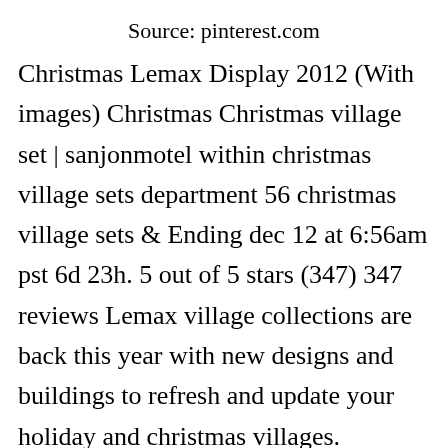Source: pinterest.com
Christmas Lemax Display 2012 (With images) Christmas Christmas village set | sanjonmotel within christmas village sets department 56 christmas village sets &amp; Ending dec 12 at 6:56am pst 6d 23h. 5 out of 5 stars (347) 347 reviews Lemax village collections are back this year with new designs and buildings to refresh and update your holiday and christmas villages. There■s lemax (my favorite which makes up the majority of myⓧollection).